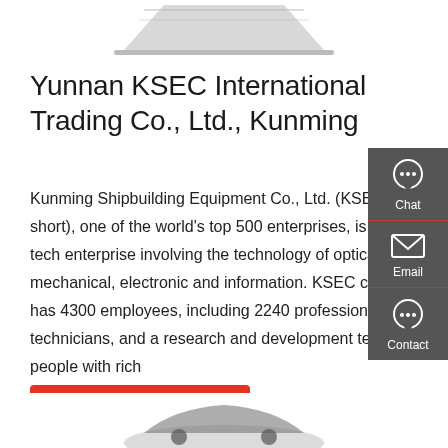[Figure (photo): Partial view of laptop/equipment from top of page]
Yunnan KSEC International Trading Co., Ltd., Kunming
Kunming Shipbuilding Equipment Co., Ltd. (KSEC for short), one of the world's top 500 enterprises, is a high-tech enterprise involving the technology of optical, mechanical, electronic and information. KSEC currently has 4300 employees, including 2240 professionals and technicians, and a research and development team of 500 people with rich
[Figure (infographic): Right sidebar with Chat, Email, and Contact icons on dark gray background]
[Figure (other): Get a quote red button]
[Figure (photo): Partial view of equipment/vehicle at bottom of page]